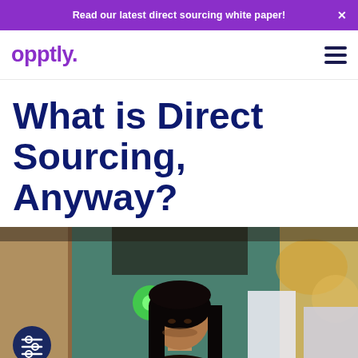Read our latest direct sourcing white paper!
[Figure (logo): opptly. logo in purple with hamburger menu icon]
What is Direct Sourcing, Anyway?
[Figure (photo): Woman with dark hair looking down at a screen in an office environment with bokeh lighting in background, and a filter/settings icon overlay in bottom left]